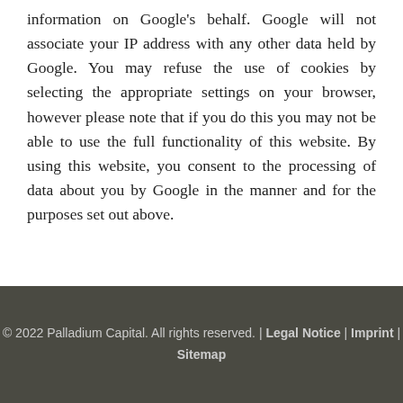information on Google's behalf. Google will not associate your IP address with any other data held by Google. You may refuse the use of cookies by selecting the appropriate settings on your browser, however please note that if you do this you may not be able to use the full functionality of this website. By using this website, you consent to the processing of data about you by Google in the manner and for the purposes set out above.
© 2022 Palladium Capital. All rights reserved. | Legal Notice | Imprint | Sitemap